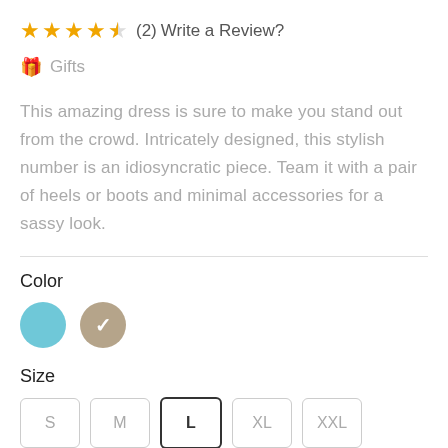★★★★½ (2) Write a Review?
🎁 Gifts
This amazing dress is sure to make you stand out from the crowd. Intricately designed, this stylish number is an idiosyncratic piece. Team it with a pair of heels or boots and minimal accessories for a sassy look.
Color
[Figure (other): Two color swatches: a light blue circle and a tan/khaki circle with a checkmark indicating selection]
Size
S  M  L (selected)  XL  XXL